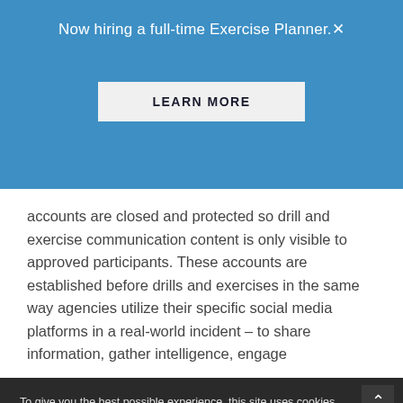Now hiring a full-time Exercise Planner. ✕
LEARN MORE
accounts are closed and protected so drill and exercise communication content is only visible to approved participants. These accounts are established before drills and exercises in the same way agencies utilize their specific social media platforms in a real-world incident – to share information, gather intelligence, engage
To give you the best possible experience, this site uses cookies.  If you continue browsing, you accept our use of cookies and Terms of Use.  You can review our privacy policy to find out more about our Terms of Use and the Privacy Policy .
ACCEPT